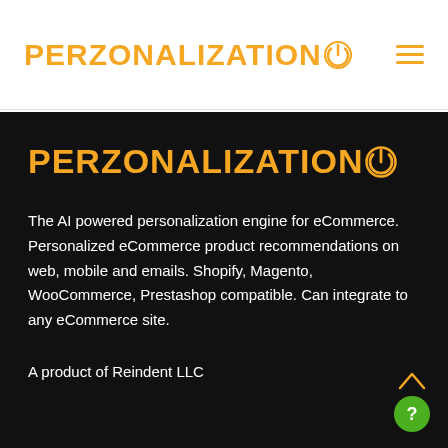PERZONALIZATION
PERZONALIZATION
The AI powered personalization engine for eCommerce. Personalized eCommerce product recommendations on web, mobile and emails. Shopify, Magento, WooCommerce, Prestashop compatible. Can integrate to any eCommerce site.
A product of Reindent LLC